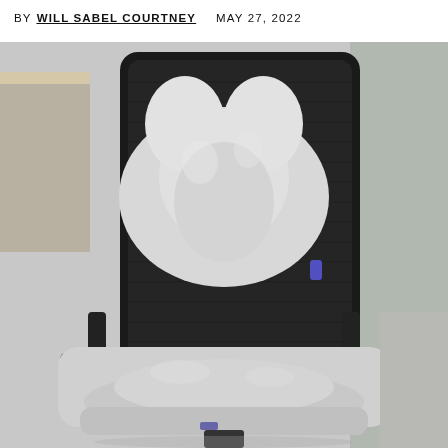BY WILL SABEL COURTNEY   MAY 27, 2022
[Figure (photo): A black mesh office chair with two gray memory foam cushions — a lumbar support pillow attached to the chair back and an ergonomic seat cushion on the seat — set in a modern office environment with a desk and partition visible in the background.]